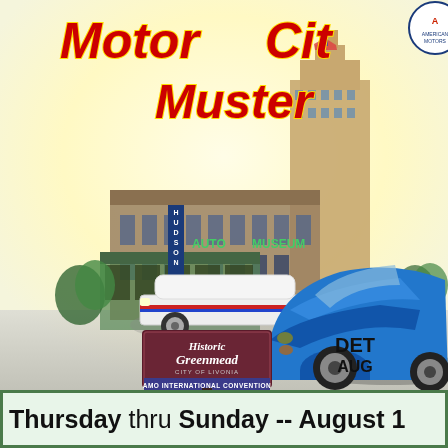Motor City Muster
[Figure (illustration): Car show event poster featuring illustrated classic muscle cars (white classic car and blue muscle car), Hudson Auto Museum building, historic Detroit building, Historic Greenmead sign, and AMO International Convention sign. Background shows yellow sky fading to gray road.]
Historic Greenmead
CITY OF LIVONIA
AMO INTERNATIONAL CONVENTION
DETROIT, AUG
Thursday thru Sunday -- August 1